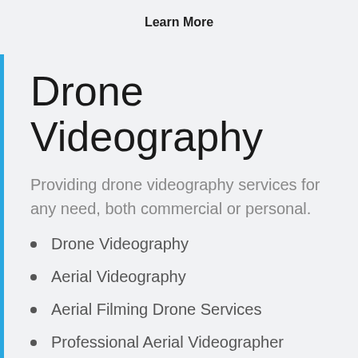Learn More
Drone Videography
Providing drone videography services for any need, both commercial or personal.
Drone Videography
Aerial Videography
Aerial Filming Drone Services
Professional Aerial Videographer